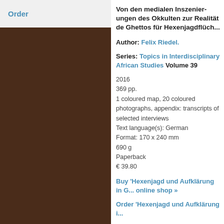Order
Von den medialen Inszenierungen des Okkulten zur Realität de Ghettos für Hexenjagdflüch...
Author: Felix Riedel.
Series: Topics in Interdisciplinary African Studies Volume 39
2016
369 pp.
1 coloured map, 20 coloured photographs, appendix: transcripts of selected interviews
Text language(s): German
Format: 170 x 240 mm
690 g
Paperback
€ 39.80
Buy 'Hexenjagd und Aufklärung in G... online shop »
Order 'Hexenjagd und Aufklärung i...